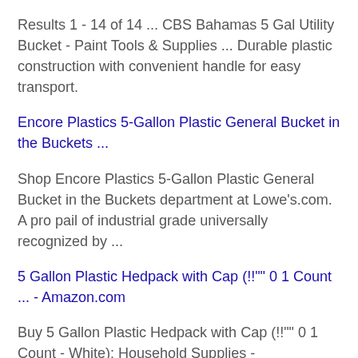Results 1 - 14 of 14 ... CBS Bahamas 5 Gal Utility Bucket - Paint Tools & Supplies ... Durable plastic construction with convenient handle for easy transport.
Encore Plastics 5-Gallon Plastic General Bucket in the Buckets ...
Shop Encore Plastics 5-Gallon Plastic General Bucket in the Buckets department at Lowe's.com. A pro pail of industrial grade universally recognized by ...
5 Gallon Plastic Hedpack with Cap (!!""  0 1 Count ... - Amazon.com
Buy 5 Gallon Plastic Hedpack with Cap (!!""  0 1 Count - White): Household Supplies - Amazon.com ✓ FREE DELIVERY possible on eligible purchases.
The Home Depot 5 Gal. Homer Bucket-05GLHD2 -